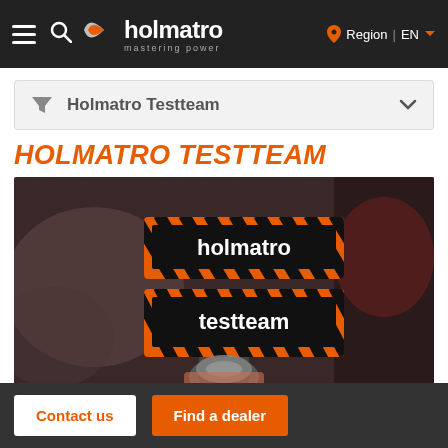Holmatro — mastering power | Region | EN
Holmatro Testteam (filter)
HOLMATRO TESTTEAM
[Figure (photo): Close-up photo of a Holmatro branded component with 'holmatro testteam' label stickers featuring orange and black hazard stripes pattern]
Contact us | Find a dealer